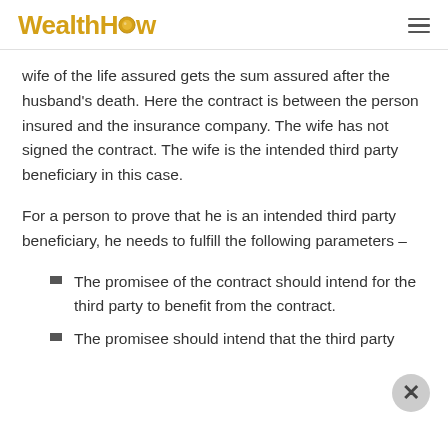WealthHow
wife of the life assured gets the sum assured after the husband's death. Here the contract is between the person insured and the insurance company. The wife has not signed the contract. The wife is the intended third party beneficiary in this case.
For a person to prove that he is an intended third party beneficiary, he needs to fulfill the following parameters –
The promisee of the contract should intend for the third party to benefit from the contract.
The promisee should intend that the third party